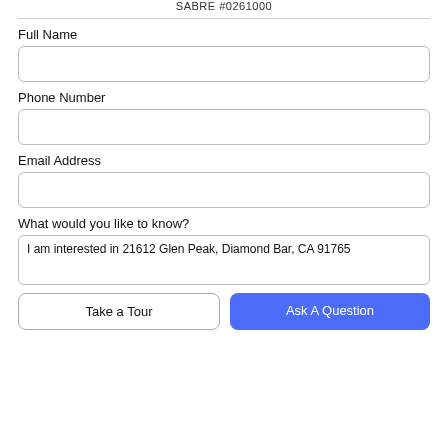SABRE #0261000
Full Name
Phone Number
Email Address
What would you like to know?
I am interested in 21612 Glen Peak, Diamond Bar, CA 91765
Take a Tour
Ask A Question